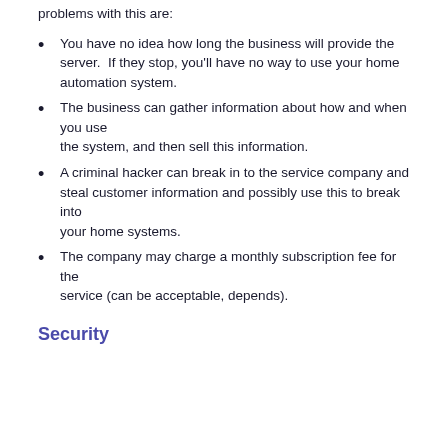problems with this are:
You have no idea how long the business will provide the server. If they stop, you'll have no way to use your home automation system.
The business can gather information about how and when you use the system, and then sell this information.
A criminal hacker can break in to the service company and steal customer information and possibly use this to break into your home systems.
The company may charge a monthly subscription fee for the service (can be acceptable, depends).
Security